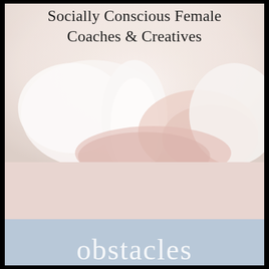Socially Conscious Female Coaches & Creatives
[Figure (photo): Soft pastel photo of a person sitting cross-legged, wearing a light pink outfit, with white pillows or cushions in the background. Very light, airy, blush and white tones.]
obstacles